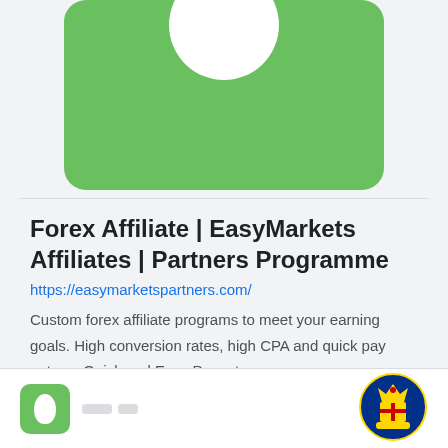[Figure (logo): Green rounded rectangle card with white circular icon, partially visible at top of page]
Forex Affiliate | EasyMarkets Affiliates | Partners Programme
https://easymarketspartners.com/
Custom forex affiliate programs to meet your earning goals. High conversion rates, high CPA and quick pay outs. ... Quick and Easy Payouts ...
Page Active   Last Checked: 8 months ago
[Figure (logo): Bottom strip showing partial green card logo and a royal crown/crest logo on the right]